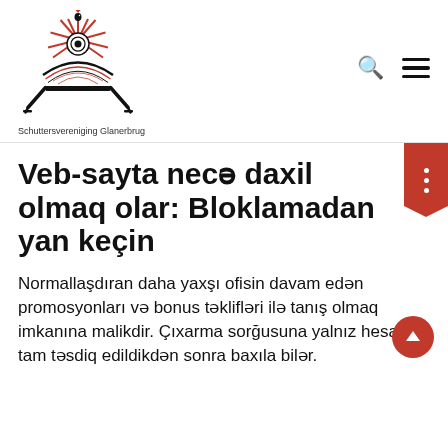[Figure (logo): Schuttersvereniging Glanerbrug logo — black and red emblem with crossed rifles, target, rooster and sunburst, with organisation name below]
Veb-sayta necə daxil olmaq olar: Bloklamadan yan keçin
Normallaşdıran daha yaxşı ofisin davam edən promosyonları və bonus təklifləri ilə tanış olmaq imkanına malikdir. Çıxarma sorğusuna yalnız hesab tam təsdiq edildikdən sonra baxıla bilər.